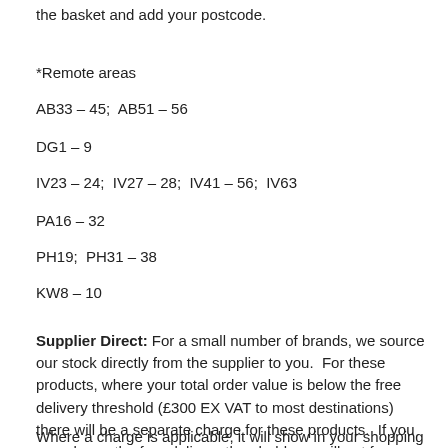the basket and add your postcode.
*Remote areas
AB33 – 45;  AB51 – 56
DG1 – 9
IV23 – 24;  IV27 – 28;  IV41 – 56;  IV63
PA16 – 32
PH19;  PH31 – 38
KW8 – 10
Supplier Direct: For a small number of brands, we source our stock directly from the supplier to you.  For these products, where your total order value is below the free delivery threshold (£300 EX VAT to most destinations) there will be a separate charge for these products.  If you spend over the free delivery threshold you will get free delivery on all items on your order.
Where a charge is applicable, it will show in your shopping cart.